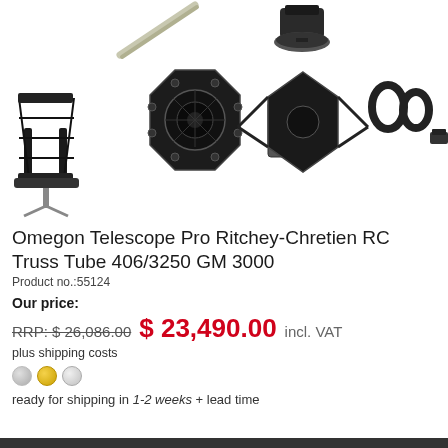[Figure (photo): Product images of Omegon Telescope Pro Ritchey-Chretien RC Truss Tube 406/3250 GM 3000, showing multiple views: assembled telescope on mount, front mirror assembly, exploded optical components, and accessory rings.]
Omegon Telescope Pro Ritchey-Chretien RC Truss Tube 406/3250 GM 3000
Product no.:55124
Our price:
RRP: $ 26,086.00  $ 23,490.00 incl. VAT
plus shipping costs
ready for shipping in 1-2 weeks + lead time